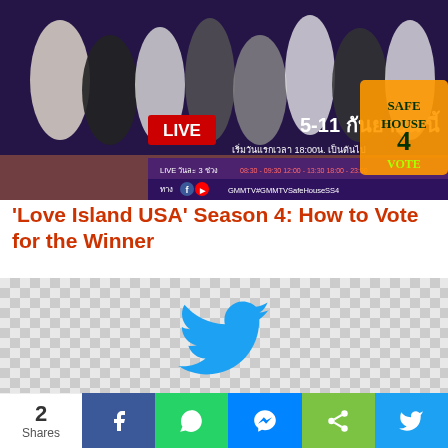[Figure (photo): GMMTV Safe House Season 4 live voting promotional banner with group photo and Thai text showing LIVE 5-11 September]
‘Love Island USA’ Season 4: How to Vote for the Winner
[Figure (logo): Twitter bird logo (blue) on checkered transparent background]
2 Shares | Facebook | WhatsApp | Messenger | Share | Twitter